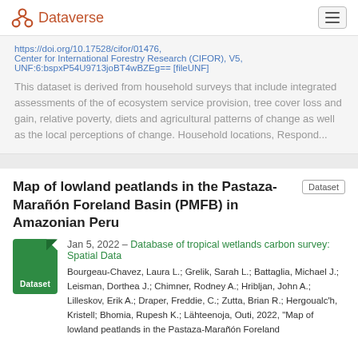Dataverse
https://doi.org/10.17528/cifor/01476, Center for International Forestry Research (CIFOR), V5, UNF:6:bspxP54U9713joBT4wBZEg== [fileUNF]
This dataset is derived from household surveys that include integrated assessments of the of ecosystem service provision, tree cover loss and gain, relative poverty, diets and agricultural patterns of change as well as the local perceptions of change. Household locations, Respond...
Map of lowland peatlands in the Pastaza-Marañón Foreland Basin (PMFB) in Amazonian Peru
Jan 5, 2022 – Database of tropical wetlands carbon survey: Spatial Data
Bourgeau-Chavez, Laura L.; Grelik, Sarah L.; Battaglia, Michael J.; Leisman, Dorthea J.; Chimner, Rodney A.; Hribljan, John A.; Lilleskov, Erik A.; Draper, Freddie, C.; Zutta, Brian R.; Hergoualc'h, Kristell; Bhomia, Rupesh K.; Lähteenoja, Outi, 2022, "Map of lowland peatlands in the Pastaza-Marañón Foreland...